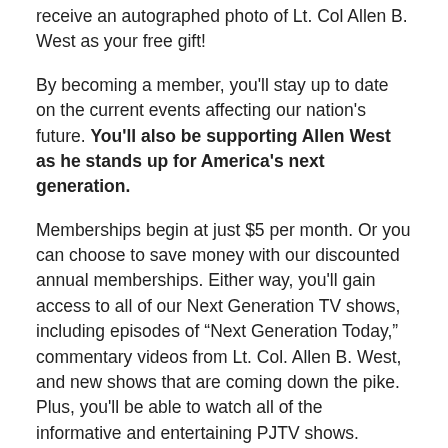receive an autographed photo of Lt. Col Allen B. West as your free gift!
By becoming a member, you'll stay up to date on the current events affecting our nation's future. You'll also be supporting Allen West as he stands up for America's next generation.
Memberships begin at just $5 per month. Or you can choose to save money with our discounted annual memberships. Either way, you'll gain access to all of our Next Generation TV shows, including episodes of “Next Generation Today,” commentary videos from Lt. Col. Allen B. West, and new shows that are coming down the pike. Plus, you'll be able to watch all of the informative and entertaining PJTV shows.